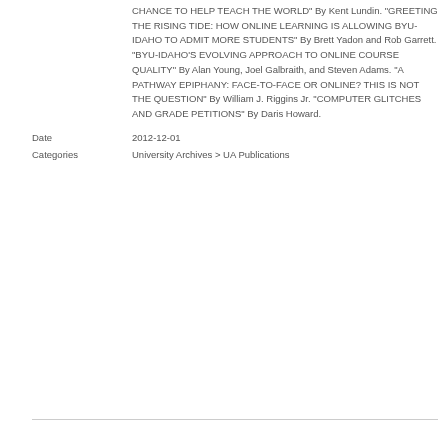CHANCE TO HELP TEACH THE WORLD" By Kent Lundin. "GREETING THE RISING TIDE: HOW ONLINE LEARNING IS ALLOWING BYU-IDAHO TO ADMIT MORE STUDENTS" By Brett Yadon and Rob Garrett. "BYU-IDAHO'S EVOLVING APPROACH TO ONLINE COURSE QUALITY" By Alan Young, Joel Galbraith, and Steven Adams. "A PATHWAY EPIPHANY: FACE-TO-FACE OR ONLINE? THIS IS NOT THE QUESTION" By William J. Riggins Jr. "COMPUTER GLITCHES AND GRADE PETITIONS" By Daris Howard.
Date   2012-12-01
Categories   University Archives > UA Publications